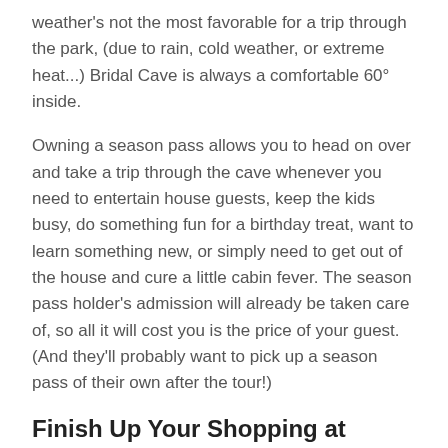weather's not the most favorable for a trip through the park, (due to rain, cold weather, or extreme heat...) Bridal Cave is always a comfortable 60° inside.
Owning a season pass allows you to head on over and take a trip through the cave whenever you need to entertain house guests, keep the kids busy, do something fun for a birthday treat, want to learn something new, or simply need to get out of the house and cure a little cabin fever. The season pass holder's admission will already be taken care of, so all it will cost you is the price of your guest. (And they'll probably want to pick up a season pass of their own after the tour!)
Finish Up Your Shopping at Bridal Cave!
From all of us at Bridal Cave, we hope that you have a great holiday season with your family and friends! We everything you need for your rock-loving or adventure-seeking friends and family! If you're going to be in the area around the holidays,